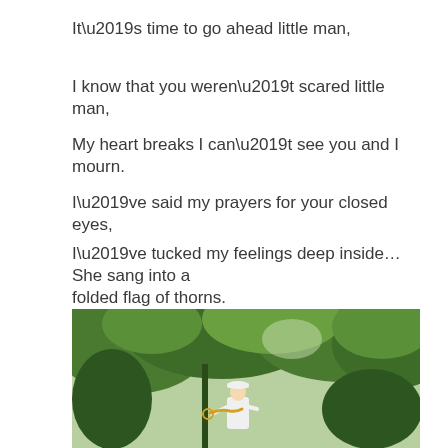It’s time to go ahead little man,
I know that you weren’t scared little man,
My heart breaks I can’t see you and I mourn.
I’ve said my prayers for your closed eyes,
I’ve tucked my feelings deep inside… She sang into a folded flag of thorns.
[Figure (photo): A military bugler in white uniform and white cap playing a bugle outdoors among green trees]